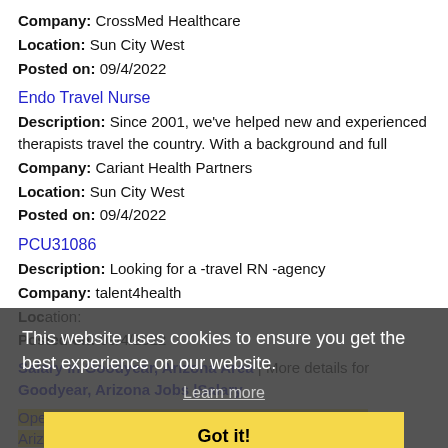Company: CrossMed Healthcare
Location: Sun City West
Posted on: 09/4/2022
Endo Travel Nurse
Description: Since 2001, we've helped new and experienced therapists travel the country. With a background and full
Company: Cariant Health Partners
Location: Sun City West
Posted on: 09/4/2022
PCU31086
Description: Looking for a -travel RN -agency
Company: talent4health
Location: [obscured by overlay]
Posted on: 09/4/2022
Salary in Goodyear, Arizona Area | More details for Goodyear, Arizona Jobs |Salary
Operating Room travel RN needed in Sun City West, Arizona
Description: Pay Rate br br 4,820 weekly br br At MedUS Healthcare, our vision is to become a necessary and exemplary